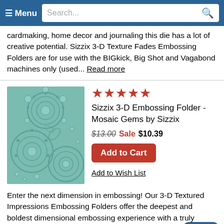≡ Menu  Search...
cardmaking, home decor and journaling this die has a lot of creative potential. Sizzix 3-D Texture Fades Embossing Folders are for use with the BIGkick, Big Shot and Vagabond machines only (used... Read more
[Figure (photo): Teal/mint colored embossed mosaic gems pattern on an embossing folder product]
★★★★★
Sizzix 3-D Embossing Folder - Mosaic Gems by Sizzix
$13.00 Sale $10.39
Add to Cart
Add to Wish List
Enter the next dimension in embossing! Our 3-D Textured Impressions Embossing Folders offer the deepest and boldest dimensional embossing experience with a truly striking visual element. ordinary cardstock, paper, metallic foil or vellum into